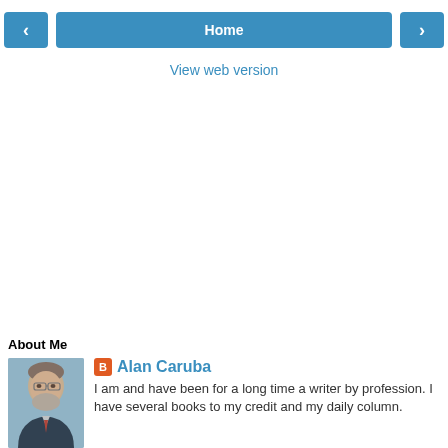[Figure (screenshot): Navigation bar with left arrow button, Home button, and right arrow button, all styled in steel blue]
View web version
About Me
[Figure (photo): Profile photo of Alan Caruba, an older man in a suit with a beard]
Alan Caruba
I am and have been for a long time a writer by profession. I have several books to my credit and my daily column.